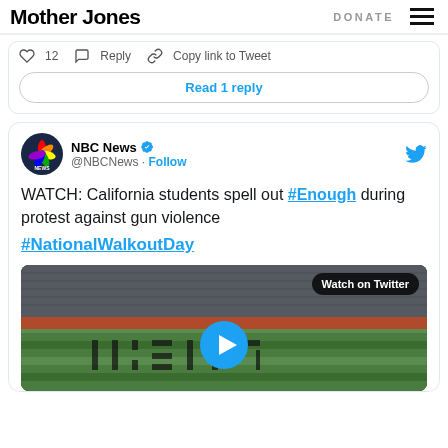Mother Jones — DONATE [menu]
♡ 12   Reply   Copy link to Tweet
Read 1 reply
NBC News @NBCNews · Follow
WATCH: California students spell out #Enough during protest against gun violence

#NationalWalkoutDay
[Figure (screenshot): Aerial video thumbnail of a sports field showing students spelling out a word, with a 'Watch on Twitter' overlay button and a blue play button.]